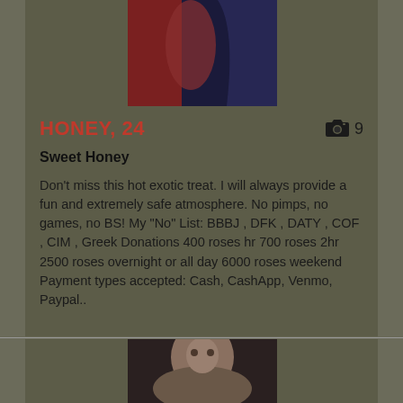[Figure (photo): Partial photo of a person in red clothing against a blue background, partially visible at top]
HONEY, 24
Sweet Honey
Don't miss this hot exotic treat. I will always provide a fun and extremely safe atmosphere. No pimps, no games, no BS! My "No" List: BBBJ , DFK , DATY , COF , CIM , Greek Donations 400 roses hr 700 roses 2hr 2500 roses overnight or all day 6000 roses weekend Payment types accepted: Cash, CashApp, Venmo, Paypal..
[Figure (photo): Partial photo of a person's face, bottom of page, mostly cut off]